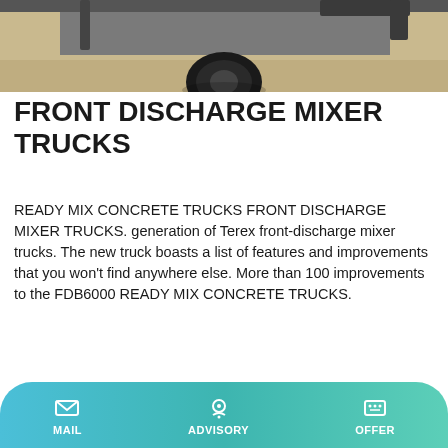[Figure (photo): Top portion of a front discharge mixer truck showing wheel and undercarriage on sandy ground]
FRONT DISCHARGE MIXER TRUCKS
READY MIX CONCRETE TRUCKS FRONT DISCHARGE MIXER TRUCKS. generation of Terex front-discharge mixer trucks. The new truck boasts a list of features and improvements that you won't find anywhere else. More than 100 improvements to the FDB6000 READY MIX CONCRETE TRUCKS.
[Figure (photo): Front discharge mixer truck drum detail view]
MAIL   ADVISORY   OFFER